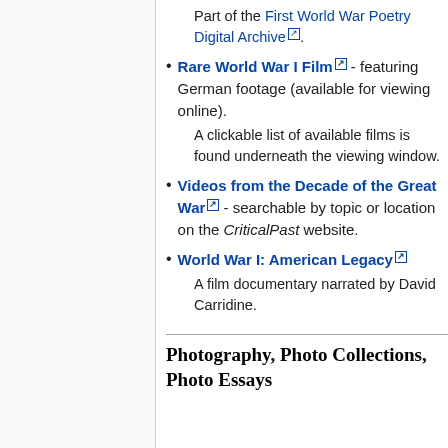Part of the First World War Poetry Digital Archive.
Rare World War I Film - featuring German footage (available for viewing online).
A clickable list of available films is found underneath the viewing window.
Videos from the Decade of the Great War - searchable by topic or location on the CriticalPast website.
World War I: American Legacy
A film documentary narrated by David Carridine.
Photography, Photo Collections, Photo Essays